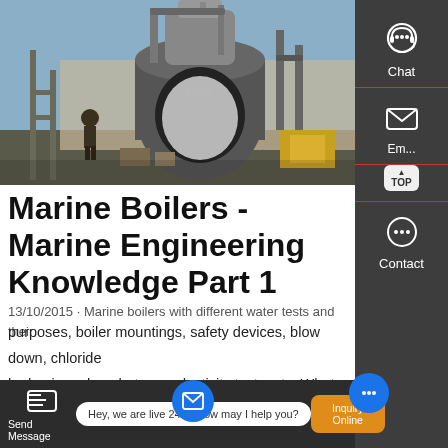[Figure (photo): Industrial boiler installation at an outdoor site, showing a large cylindrical boiler unit with pipes, scaffolding, and workers in the background against a concrete wall and blue sky.]
Marine Boilers - Marine Engineering Knowledge Part 1
13/10/2015 · Marine boilers with different water tests and their purposes, boiler mountings, safety devices, blow down, chloride hydrazine, phosphate, conductivity tests, etc. What is the meaning of marine boilers ? Boiler is a pressure vessel used on
Send Message   Hey, we are live 24/7. How may I help you?   Inquiry Online